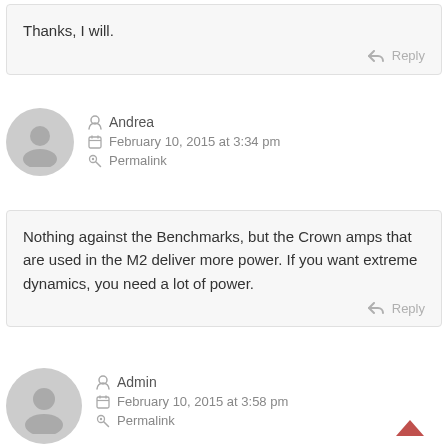Thanks, I will.
Reply
Andrea
February 10, 2015 at 3:34 pm
Permalink
Nothing against the Benchmarks, but the Crown amps that are used in the M2 deliver more power. If you want extreme dynamics, you need a lot of power.
Reply
Admin
February 10, 2015 at 3:58 pm
Permalink